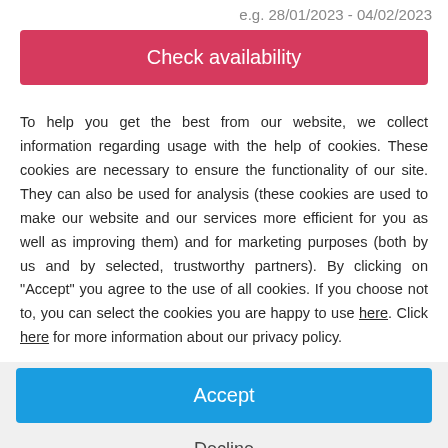e.g. 28/01/2023 - 04/02/2023
Check availability
To help you get the best from our website, we collect information regarding usage with the help of cookies. These cookies are necessary to ensure the functionality of our site. They can also be used for analysis (these cookies are used to make our website and our services more efficient for you as well as improving them) and for marketing purposes (both by us and by selected, trustworthy partners). By clicking on "Accept" you agree to the use of all cookies. If you choose not to, you can select the cookies you are happy to use here. Click here for more information about our privacy policy.
Accept
Decline
Configure